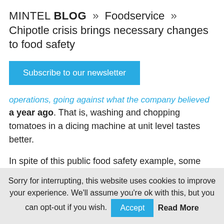MINTEL BLOG » Foodservice » Chipotle crisis brings necessary changes to food safety
Subscribe to our newsletter
operations, going against what the company believed a year ago. That is, washing and chopping tomatoes in a dicing machine at unit level tastes better.
In spite of this public food safety example, some operators, especially independent restaurant owners/chefs, may never retreat to healthy skepticism of a supplier's food safety practices. When using local ingredients and products, these chefs are relying on consumers believing
Sorry for interrupting, this website uses cookies to improve your experience. We'll assume you're ok with this, but you can opt-out if you wish. Accept Read More